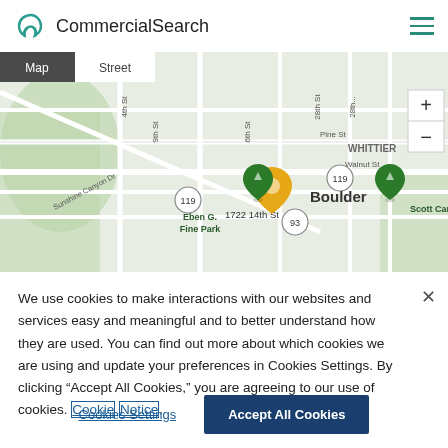CommercialSearch
[Figure (map): Street map of Boulder, CO showing location pin at 1722 14th St with nearby parks (Eben G. Fine Park, Scott Carpenter Park), streets (Sunshine Canyon Dr, Pine St, Walnut St), and route markers (119, 93). Map/Street toggle tabs visible, plus/minus zoom controls.]
We use cookies to make interactions with our websites and services easy and meaningful and to better understand how they are used. You can find out more about which cookies we are using and update your preferences in Cookies Settings. By clicking “Accept All Cookies,” you are agreeing to our use of cookies. Cookie Notice.
Cookies Settings  Accept All Cookies